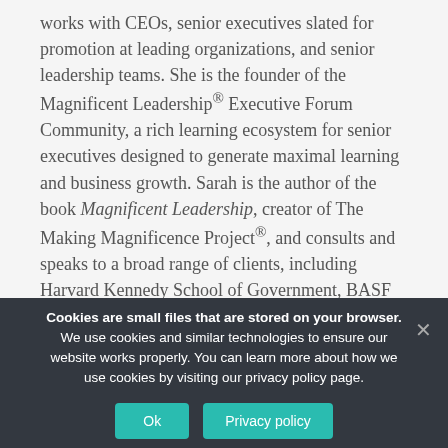works with CEOs, senior executives slated for promotion at leading organizations, and senior leadership teams. She is the founder of the Magnificent Leadership® Executive Forum Community, a rich learning ecosystem for senior executives designed to generate maximal learning and business growth. Sarah is the author of the book Magnificent Leadership, creator of The Making Magnificence Project®, and consults and speaks to a broad range of clients, including Harvard Kennedy School of Government, BASF Corporation, Ultimate Software, and American Bankers Association. She is also a coach in the elite Executive MBA program at UNC's Kenan-
Cookies are small files that are stored on your browser. We use cookies and similar technologies to ensure our website works properly. You can learn more about how we use cookies by visiting our privacy policy page.